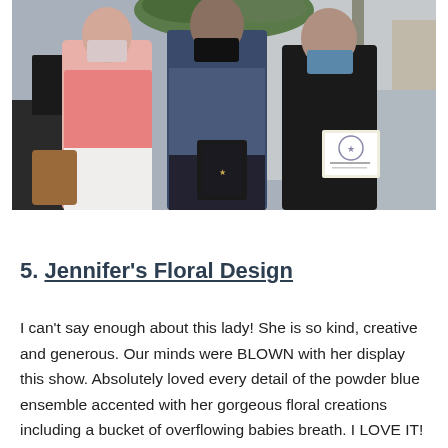[Figure (photo): Three people standing together wearing face masks in an event venue. The person on the left is a woman in a pink top and white skirt holding a brown purse. The man in the center wears a blue shirt and holds a dark award plaque. The woman on the right wears a black outfit and holds a certificate. Decorative greenery and event decor visible in the background.]
5. Jennifer's Floral Design
I can't say enough about this lady! She is so kind, creative and generous. Our minds were BLOWN with her display this show. Absolutely loved every detail of the powder blue ensemble accented with her gorgeous floral creations including a bucket of overflowing babies breath. I LOVE IT!